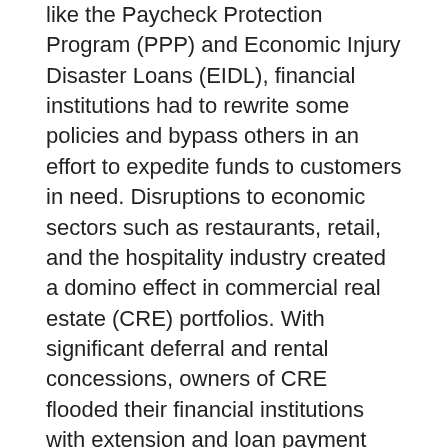like the Paycheck Protection Program (PPP) and Economic Injury Disaster Loans (EIDL), financial institutions had to rewrite some policies and bypass others in an effort to expedite funds to customers in need. Disruptions to economic sectors such as restaurants, retail, and the hospitality industry created a domino effect in commercial real estate (CRE) portfolios. With significant deferral and rental concessions, owners of CRE flooded their financial institutions with extension and loan payment concession requests.
All of this economic chaos has impacted financial institutions and their portfolios, with criticized loans showing signs of increasing. Pandemic-driven payment deferrals have mitigated some economic losses to property and business owners, but the inevitable reckoning and its ultimate fallout is yet to be seen. Will the latest stimulus package approved by Congress by the end of the feeding and SBA...